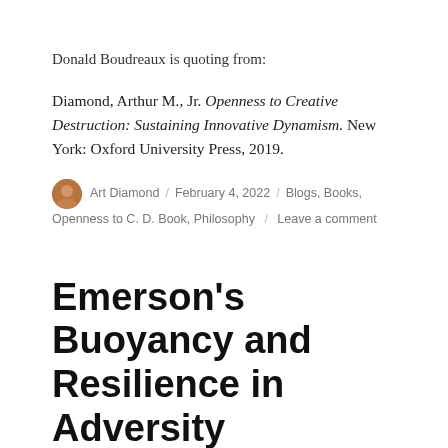Donald Boudreaux is quoting from:
Diamond, Arthur M., Jr. Openness to Creative Destruction: Sustaining Innovative Dynamism. New York: Oxford University Press, 2019.
Art Diamond / February 4, 2022 / Blogs, Books, Openness to C. D. Book, Philosophy / Leave a comment
Emerson's Buoyancy and Resilience in Adversity
I